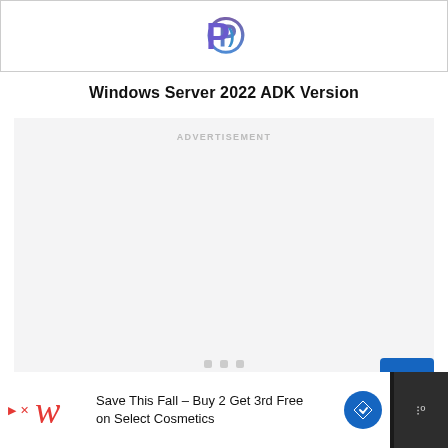[Figure (logo): Purple P logo icon centered in a bordered top bar]
Windows Server 2022 ADK Version
[Figure (other): Advertisement placeholder block with light grey background, ADVERTISEMENT label, and three grey dot indicators at bottom]
[Figure (screenshot): Bottom advertisement banner: Walgreens ad with text 'Save This Fall - Buy 2 Get 3rd Free on Select Cosmetics', blue navigation badge, and brand icon on dark background]